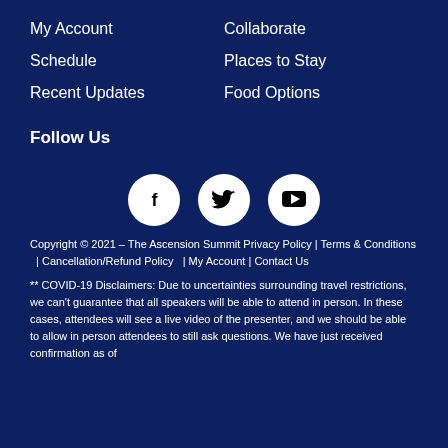My Account
Collaborate
Schedule
Places to Stay
Recent Updates
Food Options
Follow Us
[Figure (infographic): Three social media icon circles: Facebook (f), Twitter (bird), YouTube (play button)]
Copyright © 2021 – The Ascension Summit Privacy Policy | Terms & Conditions  |  Cancellation/Refund Policy  |  My Account  |  Contact Us
** COVID-19 Disclaimers: Due to uncertainties surrounding travel restrictions, we can't guarantee that all speakers will be able to attend in person. In these cases, attendees will see a live video of the presenter, and we should be able to allow in person attendees to still ask questions. We have just received confirmation as of